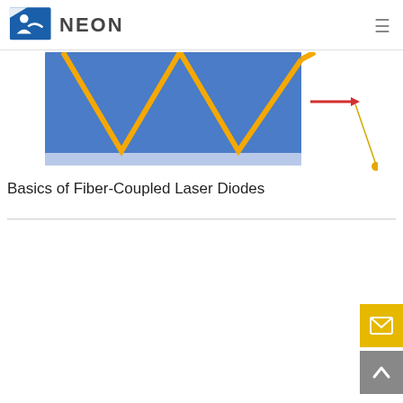NEON
[Figure (schematic): Partial view of a fiber-coupled laser diode diagram showing zigzag light path (orange/yellow lines) through a blue rectangular optical element, with a red arrow pointing right and a gold dot at bottom-right connected by a thin gold line.]
Basics of Fiber-Coupled Laser Diodes